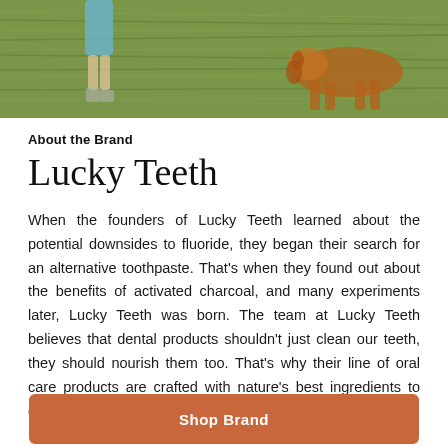[Figure (photo): Outdoor photo showing grass lawn with a child and a dog playing, cropped to show mostly the grass and lower body]
About the Brand
Lucky Teeth
When the founders of Lucky Teeth learned about the potential downsides to fluoride, they began their search for an alternative toothpaste. That's when they found out about the benefits of activated charcoal, and many experiments later, Lucky Teeth was born. The team at Lucky Teeth believes that dental products shouldn't just clean our teeth, they should nourish them too. That's why their line of oral care products are crafted with nature's best ingredients to care for your smile.
Shop Brand